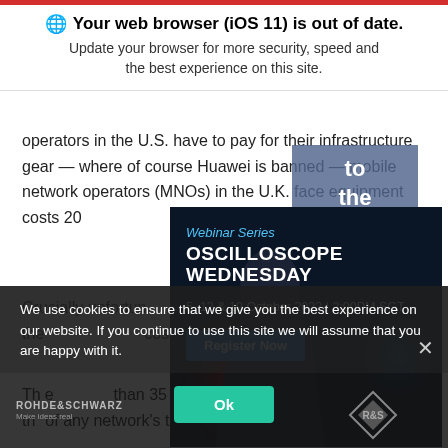🌐 Your web browser (iOS 11) is out of date. Update your browser for more security, speed and the best experience on this site.
operators in the U.S. have to pay for their infrastructure gear — where of course Huawei is banned — mobile network operators (MNOs) in the U.K. face equipment costs 20
[Figure (screenshot): Tooltip overlay showing text 'to the Site' on a blue-grey background]
[Figure (infographic): Webinar Series popup ad: OSCILLOSCOPE WEDNESDAY, 5, 12 & 19 October 2022 | 2:00PM SGT, with Register Now button, Rohde & Schwarz branding]
Crucially unfortun onths or so at the cost-effective
Th e than 35 network, nor carry more th of any network's traffic
We use cookies to ensure that we give you the best experience on our website. If you continue to use this site we will assume that you are happy with it.
Ok